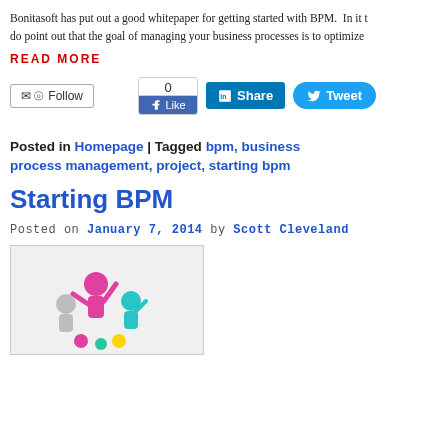Bonitasoft has put out a good whitepaper for getting started with BPM. In it t... do point out that the goal of managing your business processes is to optimize...
READ MORE
[Figure (screenshot): Social media buttons: Follow button, Facebook Like widget with count 0, LinkedIn Share button, Twitter Tweet button]
Posted in Homepage | Tagged bpm, business process management, project, starting bpm
Starting BPM
Posted on January 7, 2014 by Scott Cleveland
[Figure (photo): Colorful 3D figures of people celebrating or cheering, used as article image for Starting BPM post]